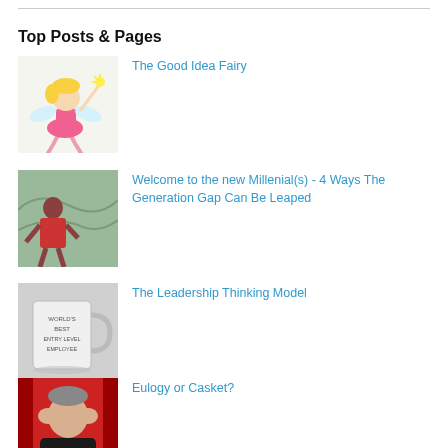Top Posts & Pages
The Good Idea Fairy
Welcome to the new Millenial(s) - 4 Ways The Generation Gap Can Be Leaped
The Leadership Thinking Model
Eulogy or Casket?